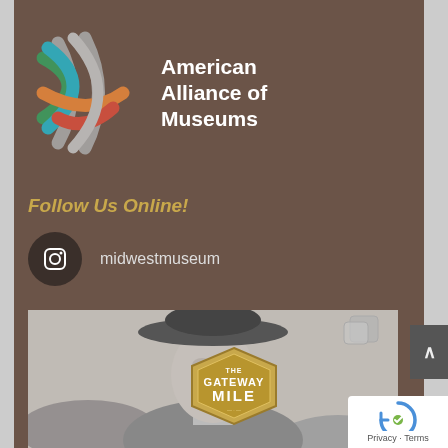[Figure (logo): American Alliance of Museums logo with colorful woven/crossed ribbon design and white text]
American Alliance of Museums
Follow Us Online!
midwestmuseum
[Figure (photo): Black and white photograph of a young man wearing a wide-brimmed hat and sweatshirt, with a Gateway Mile logo badge overlaid in lower right]